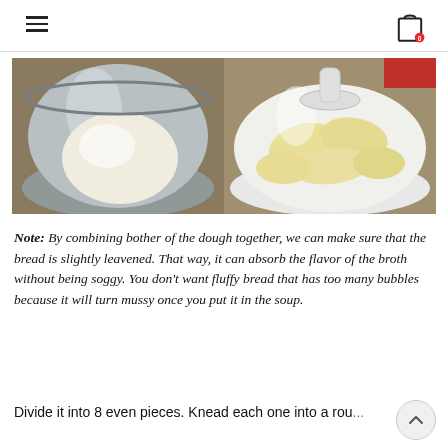[Figure (photo): Two side-by-side photos of bread dough in mixing bowls. Left photo shows a smooth white dough ball in a stainless steel mixing bowl. Right photo shows divided pieces of yellow dough in a white stand mixer bowl.]
Note: By combining bother of the dough together, we can make sure that the bread is slightly leavened. That way, it can absorb the flavor of the broth without being soggy. You don't want fluffy bread that has too many bubbles because it will turn mussy once you put it in the soup.
Divide it into 8 even pieces. Knead each one into a rou...